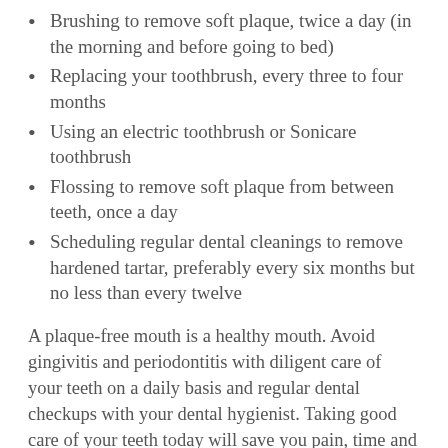Brushing to remove soft plaque, twice a day (in the morning and before going to bed)
Replacing your toothbrush, every three to four months
Using an electric toothbrush or Sonicare toothbrush
Flossing to remove soft plaque from between teeth, once a day
Scheduling regular dental cleanings to remove hardened tartar, preferably every six months but no less than every twelve
A plaque-free mouth is a healthy mouth. Avoid gingivitis and periodontitis with diligent care of your teeth on a daily basis and regular dental checkups with your dental hygienist. Taking good care of your teeth today will save you pain, time and expense tomorrow.
If you notice any symptoms of gingivitis, make an appointment with Davis Dental today. Call (307) 634-